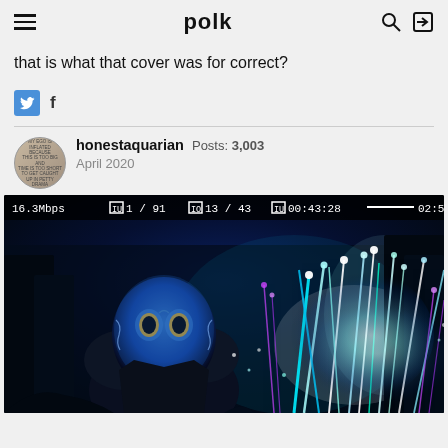polk
that is what that cover was for correct?
honestaquarian  Posts: 3,003  April 2020
[Figure (screenshot): Screenshot of a video player showing an Avatar movie scene. A blue-skinned Na'vi character in a dark bioluminescent forest. Video overlay shows: 16.3Mbps, 1/91, 13/43, 00:43:28, 02:58:09]